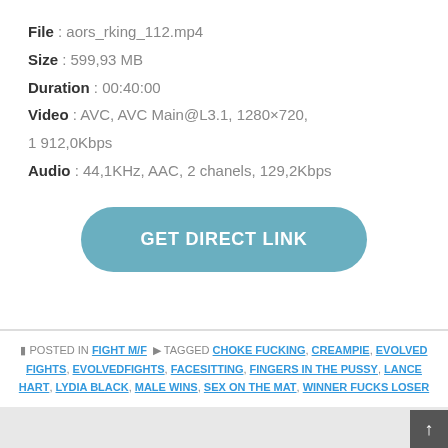File : aors_rking_112.mp4
Size : 599,93 MB
Duration : 00:40:00
Video : AVC, AVC Main@L3.1, 1280×720, 1 912,0Kbps
Audio : 44,1KHz, AAC, 2 chanels, 129,2Kbps
[Figure (other): GET DIRECT LINK button, rounded rectangle, teal/blue color]
POSTED IN FIGHT M/F  TAGGED CHOKE FUCKING, CREAMPIE, EVOLVED FIGHTS, EVOLVEDFIGHTS, FACESITTING, FINGERS IN THE PUSSY, LANCE HART, LYDIA BLACK, MALE WINS, SEX ON THE MAT, WINNER FUCKS LOSER